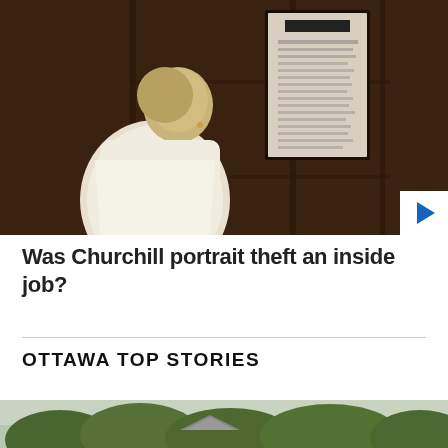[Figure (photo): A woman with short blonde hair, wearing a white blazer, stands with her back to the camera looking at a framed document or notice board on dark wood-paneled walls.]
Was Churchill portrait theft an inside job?
OTTAWA TOP STORIES
[Figure (photo): Partial view of trees and sky, bottom of page, cropped.]